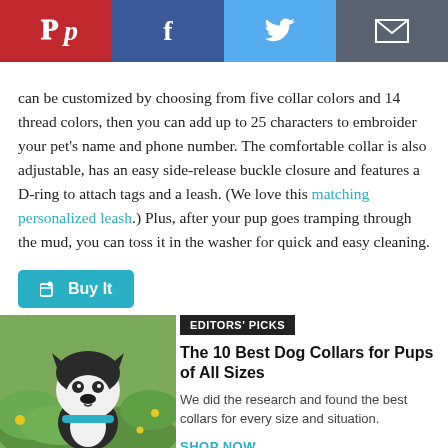[Figure (screenshot): Social share bar with Pinterest (red), Facebook (dark blue), Twitter (light blue), and Email (dark gray) buttons with white icons]
can be customized by choosing from five collar colors and 14 thread colors, then you can add up to 25 characters to embroider your pet's name and phone number. The comfortable collar is also adjustable, has an easy side-release buckle closure and features a D-ring to attach tags and a leash. (We love this matching personalized leash.) Plus, after your pup goes tramping through the mud, you can toss it in the washer for quick and easy cleaning.
[Figure (other): Teal 'Buy It' button with tag icon]
[Figure (photo): Black and white Boston Terrier dog sitting outdoors in green grass with yellow flowers, wearing a teal collar]
EDITORS' PICKS
The 10 Best Dog Collars for Pups of All Sizes
We did the research and found the best collars for every size and situation.
SHOP NOW